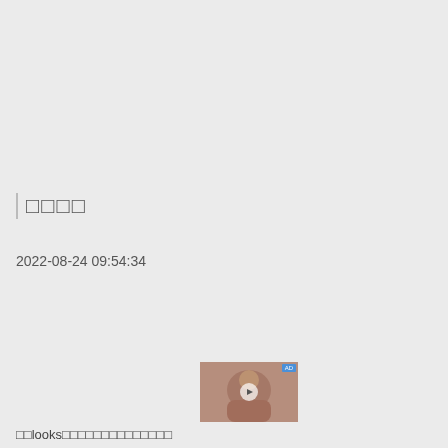□□□□
2022-08-24 09:54:34
□□looks□□□□□□□□□□□□□□□
[Figure (photo): Thumbnail image of a person at the bottom right area of the page]